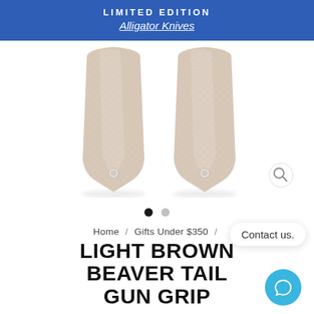LIMITED EDITION
Alligator Knives
[Figure (photo): Two light brown beaver tail gun grip panels with textured alligator-like surface and metal screw holes at the bottom, displayed on white background.]
Home / Gifts Under $350 /
LIGHT BROWN BEAVER TAIL GUN GRIP
★ ★ ★ ★ ★  4 REVIEWS